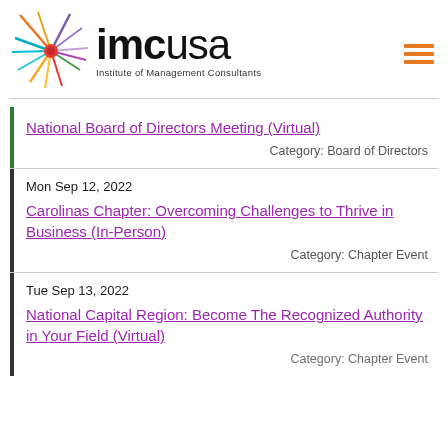[Figure (logo): IMCusa logo with colorful starburst rays and text 'imcusa Institute of Management Consultants']
National Board of Directors Meeting (Virtual)
Category: Board of Directors
Mon Sep 12, 2022
Carolinas Chapter: Overcoming Challenges to Thrive in Business (In-Person)
Category: Chapter Event
Tue Sep 13, 2022
National Capital Region: Become The Recognized Authority in Your Field (Virtual)
Category: Chapter Event